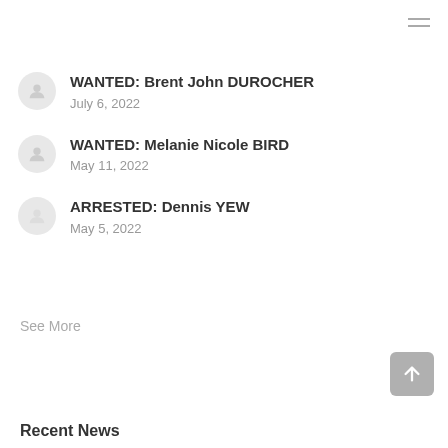WANTED: Brent John DUROCHER
July 6, 2022
WANTED: Melanie Nicole BIRD
May 11, 2022
ARRESTED: Dennis YEW
May 5, 2022
See More
Recent News